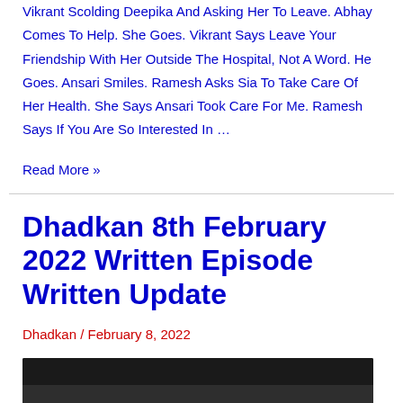Vikrant Scolding Deepika And Asking Her To Leave. Abhay Comes To Help. She Goes. Vikrant Says Leave Your Friendship With Her Outside The Hospital, Not A Word. He Goes. Ansari Smiles. Ramesh Asks Sia To Take Care Of Her Health. She Says Ansari Took Care For Me. Ramesh Says If You Are So Interested In …
Read More »
Dhadkan 8th February 2022 Written Episode Written Update
Dhadkan / February 8, 2022
[Figure (photo): Dark thumbnail image at the bottom of the page, partially visible]